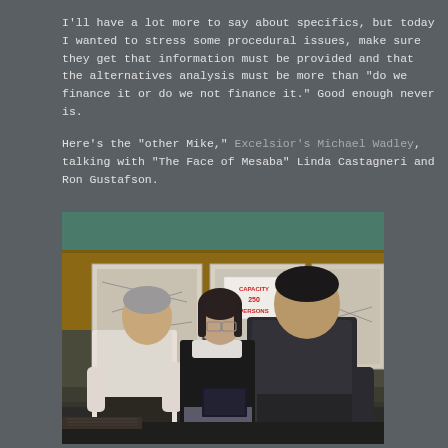I'll have a lot more to say about specifics, but today I wanted to stress some procedural issues, make sure they get that information must be provided and that the alternatives analysis must be more than "do we finance it or do we not finance it." Good enough never is.
Here's the "other Mike," Excelsior's Michael Wadley, talking with "The Face of Mesaba" Linda Castagneri and Ron Gustafson.
[Figure (photo): Three people standing and talking in a room with display boards/posters on the wall behind them. A sign reads 'CAPACITY 250 PERSONS'. One man in a white shirt faces another larger man in a dark jacket, while a woman with glasses stands between them holding a book/folder.]